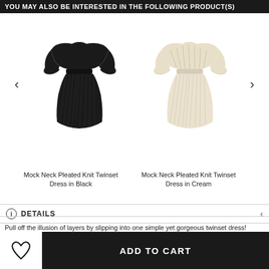YOU MAY ALSO BE INTERESTED IN THE FOLLOWING PRODUCT(S)
[Figure (photo): Mock Neck Pleated Knit Twinset Dress in Black - a black two-piece style dress with mock neck top and pleated skirt]
Mock Neck Pleated Knit Twinset Dress in Black
[Figure (photo): Mock Neck Pleated Knit Twinset Dress in Cream - a cream/ivory two-piece style dress with mock neck top and pleated skirt]
Mock Neck Pleated Knit Twinset Dress in Cream
DETAILS
Pull off the illusion of layers by slipping into one simple yet gorgeous twinset dress! Pleats and ruffled cuffs give it a fanciful touch. Knit material makes it warm and cozy.